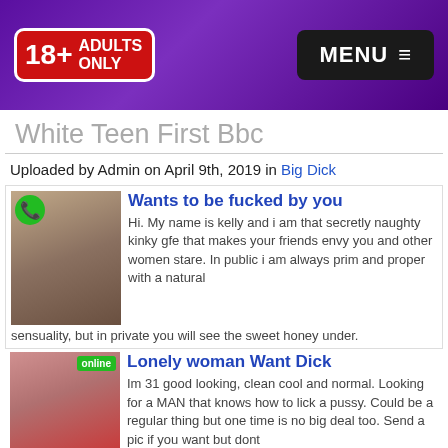[Figure (screenshot): Website header with 18+ Adults Only logo on purple gradient background and MENU button]
White Teen First Bbc
Uploaded by Admin on April 9th, 2019 in Big Dick
[Figure (photo): Advertisement with woman photo, phone icon, headline 'Wants to be fucked by you' and body text about Kelly]
[Figure (photo): Advertisement with woman photo, online badge, headline 'Lonely woman Want Dick' and body text]